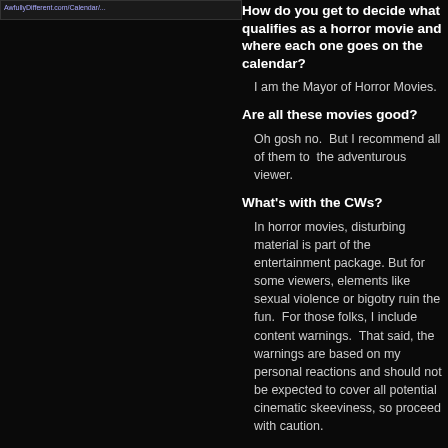How do you get to decide what qualifies as a horror movie and where each one goes on the calendar?
I am the Mayor of Horror Movies.
Are all these movies good?
Oh gosh no.  But I recommend all of them to  the adventurous viewer.
What's with the CWs?
In horror movies, disturbing material is part of the entertainment package. But for some viewers, elements like sexual violence or bigotry ruin the fun.  For those folks, I include content warnings.  That said, the warnings are based on my personal reactions and should not be expected to cover all potential cinematic skeeviness, so proceed with caution.
Who are you, aside from the mayor?